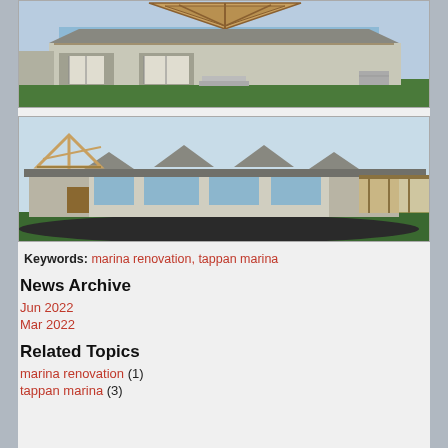[Figure (illustration): Architectural rendering of a large marina clubhouse/building with timber frame roof structure, multiple garage doors, balconies, and large windows, shown from rear/side elevation angle. Green landscaping surrounds the building. 3D model rendering style.]
[Figure (illustration): Architectural rendering of a marina building from a front/side elevation showing craftsman-style design with timber frame entry feature, multiple gabled dormers, large windows, stone and siding exterior, and adjacent covered deck/porch area. Asphalt driveway in foreground. 3D model rendering style.]
Keywords: marina renovation, tappan marina
News Archive
Jun 2022
Mar 2022
Related Topics
marina renovation (1)
tappan marina (3)